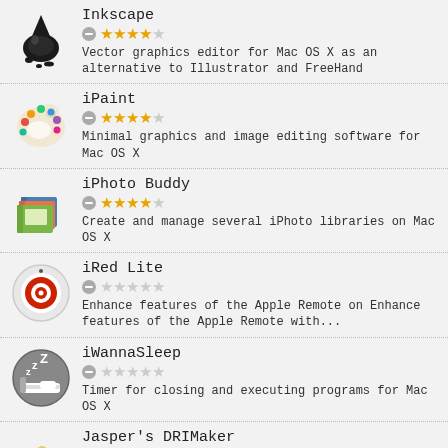Inkscape — 3.5 stars — Vector graphics editor for Mac OS X as an alternative to Illustrator and FreeHand
iPaint — 3.5 stars — Minimal graphics and image editing software for Mac OS X
iPhoto Buddy — 3.5 stars — Create and manage several iPhoto libraries on Mac OS X
iRed Lite — 0 stars — Enhance features of the Apple Remote on Enhance features of the Apple Remote with...
iWannaSleep — 0 stars — Timer for closing and executing programs for Mac OS X
Jasper's DRIMaker — 0 stars — Create DRI images on Mac OS X